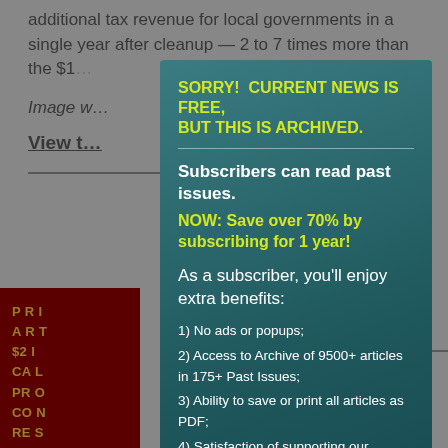additional tax revenue for local governments in a single year after cleanup — 2 to 7 times more than the $1… nup of those b…
Image w…
View t…
[Figure (other): Subscription modal overlay with teal/dark background. Header: 'SORRY! CURRENT NEWS IS FREE, BUT THIS IS ARCHIVED.' followed by 'Subscribers can read past issues.' and 'NOW: Save over 70% by subscribing for 1 year!' and list of 5 subscriber benefits.]
SORRY! CURRENT NEWS IS FREE, BUT THIS IS ARCHIVED.
Subscribers can read past issues.
NOW: Save over 70% by subscribing for 1 year!
As a subscriber, you'll enjoy extra benefits:
1) No ads or popups;
2) Access to Archive of 9500+ articles in 175+ Past Issues;
3) Ability to save or print all articles as PDF;
4) Satisfaction of supporting our regenerative work; and
5) Email notification of new issues (2X/month). And More!